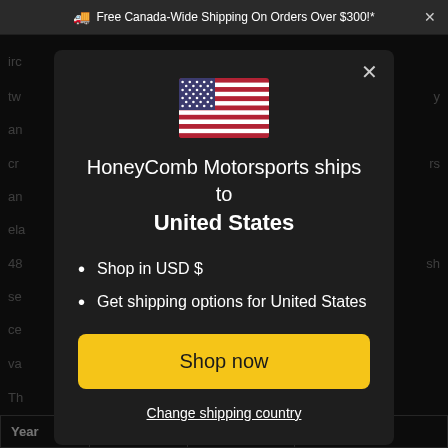🚚 Free Canada-Wide Shipping On Orders Over $300!* ×
[Figure (illustration): US flag emoji/SVG displayed at top center of modal dialog]
HoneyComb Motorsports ships to United States
Shop in USD $
Get shipping options for United States
Shop now
Change shipping country
| Year | Make | Model | Submodel |
| --- | --- | --- | --- |